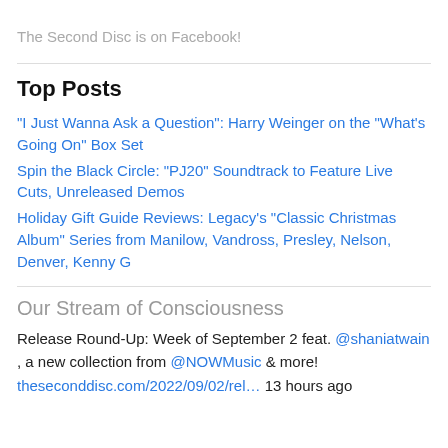The Second Disc is on Facebook!
Top Posts
"I Just Wanna Ask a Question": Harry Weinger on the "What's Going On" Box Set
Spin the Black Circle: "PJ20" Soundtrack to Feature Live Cuts, Unreleased Demos
Holiday Gift Guide Reviews: Legacy's "Classic Christmas Album" Series from Manilow, Vandross, Presley, Nelson, Denver, Kenny G
Our Stream of Consciousness
Release Round-Up: Week of September 2 feat. @shaniatwain , a new collection from @NOWMusic & more!
theseconddisc.com/2022/09/02/rel… 13 hours ago